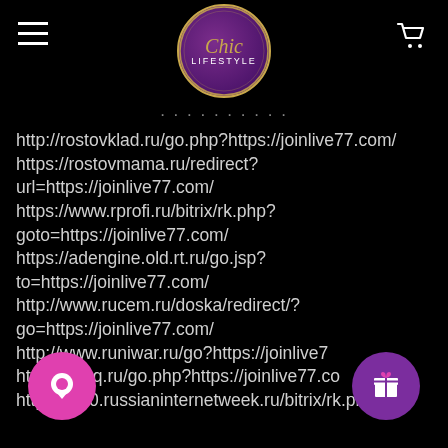[Figure (logo): Chic Lifestyle logo — circular purple gradient badge with gold border, italic 'Chic' in gold and 'LIFESTYLE' in white uppercase below]
http://rostovklad.ru/go.php?https://joinlive77.com/
https://rostovmama.ru/redirect?url=https://joinlive77.com/
https://www.rprofi.ru/bitrix/rk.php?goto=https://joinlive77.com/
https://adengine.old.rt.ru/go.jsp?to=https://joinlive77.com/
http://www.rucem.ru/doska/redirect/?go=https://joinlive77.com/
http://www.runiwar.ru/go?https://joinlive77.com/
https://rusq.ru/go.php?https://joinlive77.com/
http://2010.russianinternetweek.ru/bitrix/rk.php?